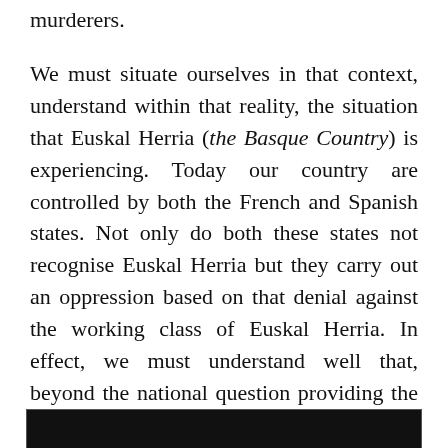murderers.
We must situate ourselves in that context, understand within that reality, the situation that Euskal Herria (the Basque Country) is experiencing. Today our country are controlled by both the French and Spanish states. Not only do both these states not recognise Euskal Herria but they carry out an oppression based on that denial against the working class of Euskal Herria. In effect, we must understand well that, beyond the national question providing the a joint market for the states, the working class can only use the political project of the bourgeoisie as an element of unity to support and protect it, promoting interclassist attitudes.
[Figure (photo): Dark image strip at the bottom of the page, partially visible.]